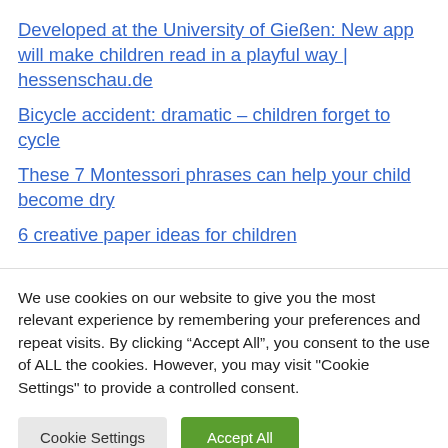Developed at the University of Gießen: New app will make children read in a playful way | hessenschau.de
Bicycle accident: dramatic – children forget to cycle
These 7 Montessori phrases can help your child become dry
6 creative paper ideas for children
We use cookies on our website to give you the most relevant experience by remembering your preferences and repeat visits. By clicking “Accept All”, you consent to the use of ALL the cookies. However, you may visit "Cookie Settings" to provide a controlled consent.